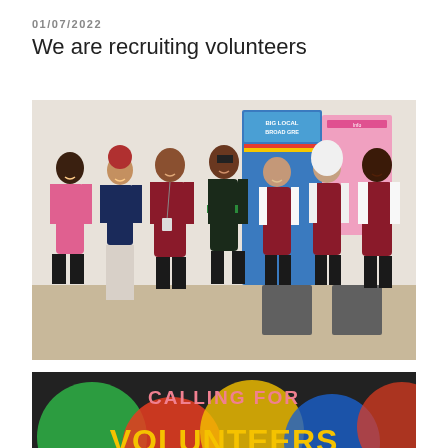01/07/2022
We are recruiting volunteers
[Figure (photo): Group photo of seven people standing together in a community hall, several wearing dark red/maroon volunteer vests with lanyards, in front of a Big Local Broad Green banner and a pink informational poster.]
[Figure (infographic): Colourful graphic with text 'CALLING FOR VOLUNTEERS' on a background of green, red, yellow and blue shapes, with 'VOLUNTEERS' in large yellow bold letters at the bottom.]